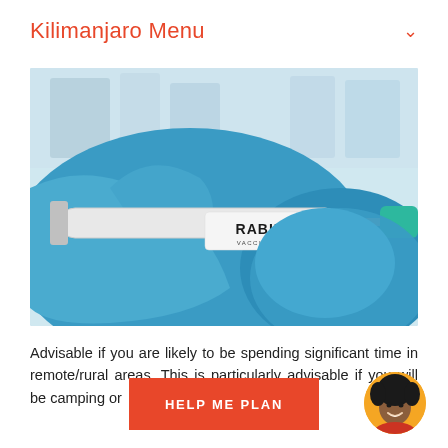Kilimanjaro Menu
[Figure (photo): Close-up photo of blue-gloved hands holding a syringe and a vial labeled 'RABIES VACCINATION']
Advisable if you are likely to be spending significant time in remote/rural areas. This is particularly advisable if you will be camping or
HELP ME PLAN